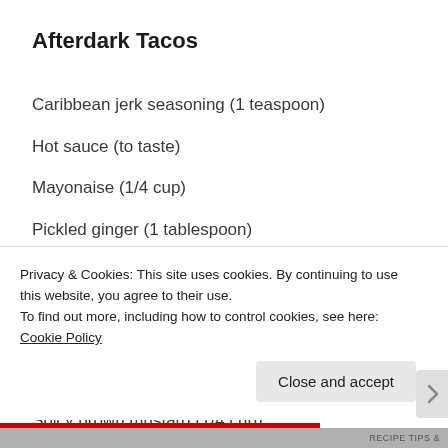Afterdark Tacos
Caribbean jerk seasoning (1 teaspoon)
Hot sauce (to taste)
Mayonaise (1/4 cup)
Pickled ginger (1 tablespoon)
Baked Fish. We had grouper but I'm sure Gordon's fish sticks would rock too. (2 fillets or six sticks)
Peel and eat shrimp (1 cup)
Macadamia nuts (roasted)
Spicy brown mustard (1/4 cup)
Kosher salt (to taste)
Privacy & Cookies: This site uses cookies. By continuing to use this website, you agree to their use.
To find out more, including how to control cookies, see here: Cookie Policy